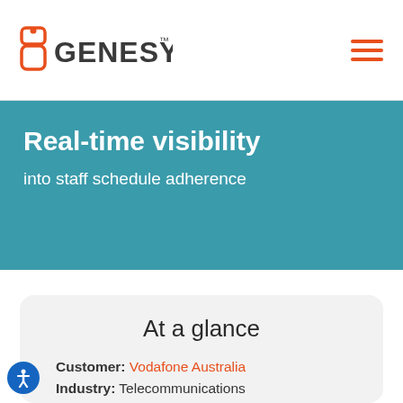Genesys logo and navigation menu
Real-time visibility
into staff schedule adherence
At a glance
Customer: Vodafone Australia
Industry: Telecommunications